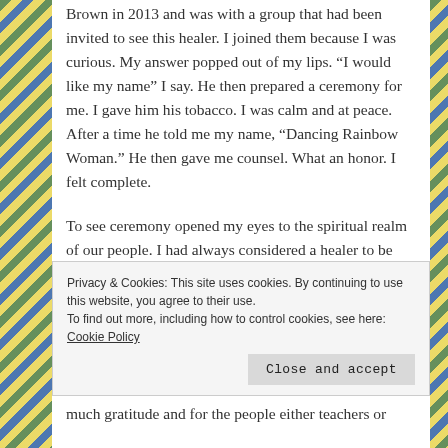Brown in 2013 and was with a group that had been invited to see this healer. I joined them because I was curious. My answer popped out of my lips. “I would like my name” I say. He then prepared a ceremony for me. I gave him his tobacco. I was calm and at peace. After a time he told me my name, “Dancing Rainbow Woman.” He then gave me counsel. What an honor. I felt complete.
To see ceremony opened my eyes to the spiritual realm of our people. I had always considered a healer to be such as this man but I do know that healing comes in different aspects. My way would be through the messages that would come through me to client. Being told that I would be healer
Privacy & Cookies: This site uses cookies. By continuing to use this website, you agree to their use. To find out more, including how to control cookies, see here: Cookie Policy
Close and accept
much gratitude and for the people either teachers or